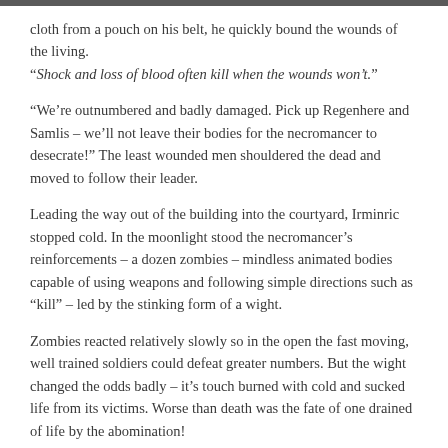cloth from a pouch on his belt, he quickly bound the wounds of the living. “Shock and loss of blood often kill when the wounds won’t.”
“We’re outnumbered and badly damaged. Pick up Regenhere and Samlis – we’ll not leave their bodies for the necromancer to desecrate!” The least wounded men shouldered the dead and moved to follow their leader.
Leading the way out of the building into the courtyard, Irminric stopped cold. In the moonlight stood the necromancer’s reinforcements – a dozen zombies – mindless animated bodies capable of using weapons and following simple directions such as “kill” – led by the stinking form of a wight.
Zombies reacted relatively slowly so in the open the fast moving, well trained soldiers could defeat greater numbers. But the wight changed the odds badly – it’s touch burned with cold and sucked life from its victims. Worse than death was the fate of one drained of life by the abomination!
Irminric lunged forward and hacked downward on the closest zombie, striking the joint between neck and shoulder. The super-sharp blade sliced through the leather armor cladding the undead thing, hacking through undead flesh and bone. Light flashed from the axe blade, bright to the human soldiers, blinding to the undead. The stink of the rotting bodies mixed with the stench of burned flesh – the flash burned the undead and staggered them.